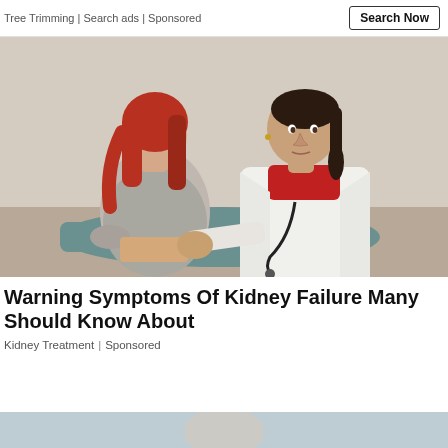Tree Trimming | Search ads | Sponsored
Search Now
[Figure (photo): A female doctor in a white coat and red turtleneck examines a red-haired female patient who is seated with her back turned, placing hands on the patient's lower back area. Medical examination scene.]
Warning Symptoms Of Kidney Failure Many Should Know About
Kidney Treatment | Sponsored
[Figure (photo): Partial view of another article image at the bottom of the page, cropped.]